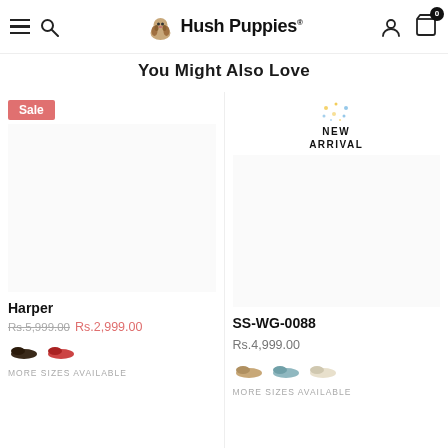Hush Puppies
You Might Also Love
[Figure (screenshot): Product card for Harper shoe with Sale badge, color swatches, original price Rs.5,999.00 and sale price Rs.2,999.00]
[Figure (screenshot): Product card for SS-WG-0088 shoe with New Arrival badge, color swatches, price Rs.4,999.00]